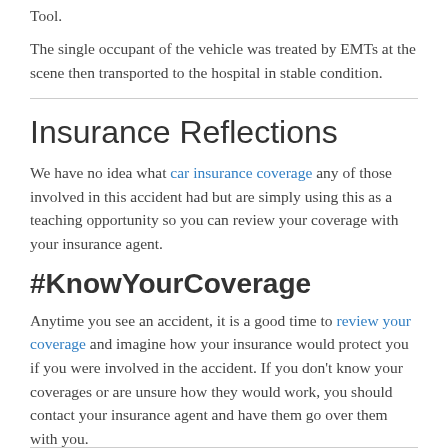Tool.
The single occupant of the vehicle was treated by EMTs at the scene then transported to the hospital in stable condition.
Insurance Reflections
We have no idea what car insurance coverage any of those involved in this accident had but are simply using this as a teaching opportunity so you can review your coverage with your insurance agent.
#KnowYourCoverage
Anytime you see an accident, it is a good time to review your coverage and imagine how your insurance would protect you if you were involved in the accident. If you don't know your coverages or are unsure how they would work, you should contact your insurance agent and have them go over them with you.